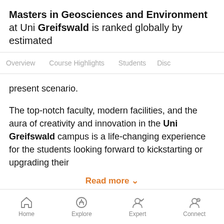Masters in Geosciences and Environment at Uni Greifswald is ranked globally by estimated
Overview   Course Highlights   Students   Disc
present scenario.

The top-notch faculty, modern facilities, and the aura of creativity and innovation in the Uni Greifswald campus is a life-changing experience for the students looking forward to kickstarting or upgrading their
Read more ∨
Course Highlights
[Figure (other): Orange circular chat/message button icon]
Home   Explore   Expert   Connect